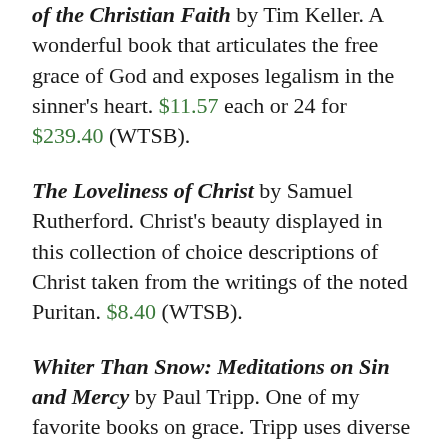of the Christian Faith by Tim Keller. A wonderful book that articulates the free grace of God and exposes legalism in the sinner's heart. $11.57 each or 24 for $239.40 (WTSB).
The Loveliness of Christ by Samuel Rutherford. Christ's beauty displayed in this collection of choice descriptions of Christ taken from the writings of the noted Puritan. $8.40 (WTSB).
Whiter Than Snow: Meditations on Sin and Mercy by Paul Tripp. One of my favorite books on grace. Tripp uses diverse writing styles to communicate the many features of God's forgiving